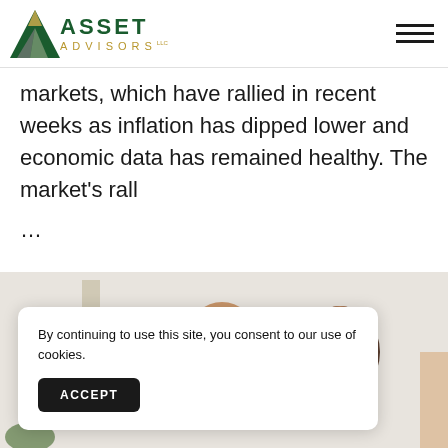ASSET ADVISORS LLC
markets, which have rallied in recent weeks as inflation has dipped lower and economic data has remained healthy. The market's rall ...
[Figure (photo): Two people in a professional setting, partial view of heads and upper bodies]
By continuing to use this site, you consent to our use of cookies.
ACCEPT